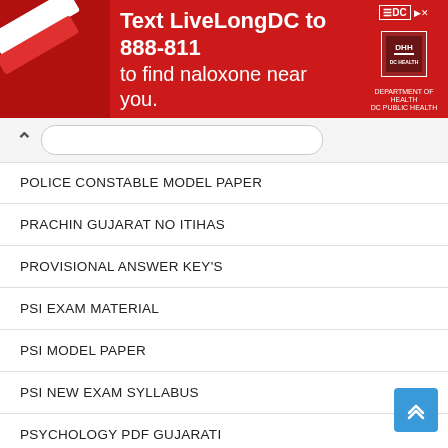[Figure (infographic): Red ad banner: Text LiveLongDC to 888-811 to find naloxone near you. DC and DHH logos on right side.]
POLICE CONSTABLE MODEL PAPER
PRACHIN GUJARAT NO ITIHAS
PROVISIONAL ANSWER KEY'S
PSI EXAM MATERIAL
PSI MODEL PAPER
PSI NEW EXAM SYLLABUS
PSYCHOLOGY PDF GUJARATI
QUESTION PAPER
RAILWAY EXAM MATERIAL
RAJKOT MUNICIPAL CORPORATION EXAMS SYLLABUS
REPUBLIC DAY PHOTOS